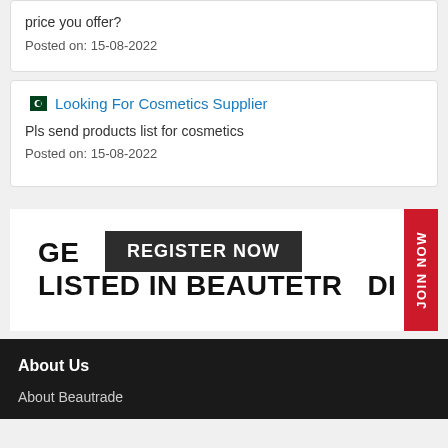price you offer?
Posted on: 15-08-2022
Looking For Cosmetics Supplier
Pls send products list for cosmetics
Posted on: 15-08-2022
[Figure (infographic): Banner with text 'GET YOUR PRODUCTS LISTED IN BEAUTETRADE' overlaid with 'REGISTER NOW' dark box and red 'JOIN NOW' vertical tab on right]
About Us
About Beautrade